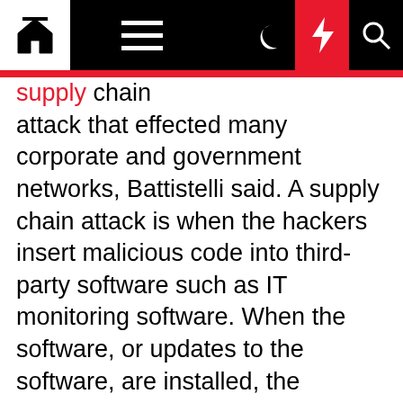Navigation bar with home, menu, moon, flash, and search icons
supply chain attack that effected many corporate and government networks, Battistelli said. A supply chain attack is when the hackers insert malicious code into third-party software such as IT monitoring software. When the software, or updates to the software, are installed, the malicious software is also installed allowing the hackers access to the corporate and government networks. The SolarWinds attack infiltrated a wide array of corporate and government networks. The exercise also infuses social media "noise" into the scenario, making the exercise as realistic as possible.
This year the Blue Teams – the "good guys" – will work to defend the military's own computer networks. In the past, the exercise scenario has had the Blue Teams responding under the authority of a